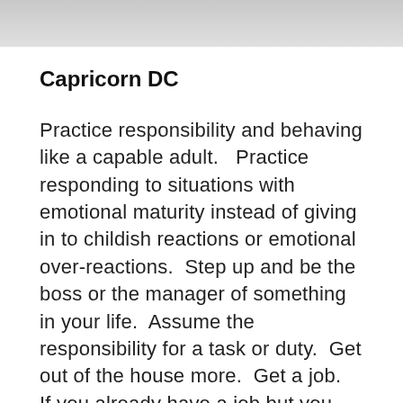[Figure (photo): Partial photo strip at the top of the page, showing a gray/sky image.]
Capricorn DC
Practice responsibility and behaving like a capable adult.   Practice responding to situations with emotional maturity instead of giving in to childish reactions or emotional over-reactions.  Step up and be the boss or the manager of something in your life.  Assume the responsibility for a task or duty.  Get out of the house more.  Get a job.  If you already have a job but you don't like it, get a better job.  Get certified.  Or get official accreditation in your education.  Do something that will win you respect from your peers or